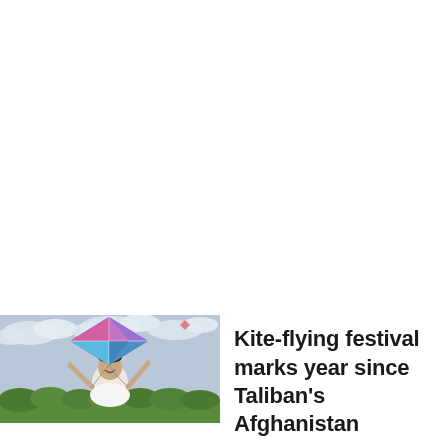[Figure (photo): A man smiling and holding a large colorful kite (purple, blue, pink geometric design) outdoors under a cloudy sky, with green trees visible in the background.]
Kite-flying festival marks year since Taliban's Afghanistan